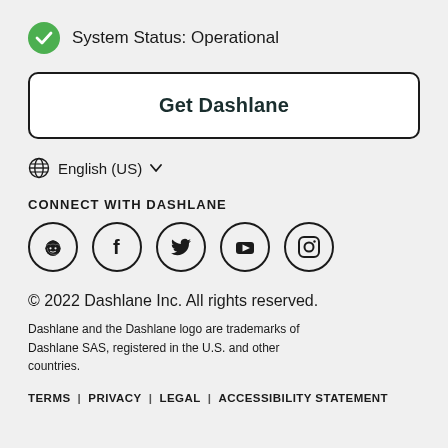System Status: Operational
Get Dashlane
English (US)
CONNECT WITH DASHLANE
[Figure (illustration): Five social media icons in circles: Reddit, Facebook, Twitter, YouTube, Instagram]
© 2022 Dashlane Inc. All rights reserved.
Dashlane and the Dashlane logo are trademarks of Dashlane SAS, registered in the U.S. and other countries.
TERMS | PRIVACY | LEGAL | ACCESSIBILITY STATEMENT